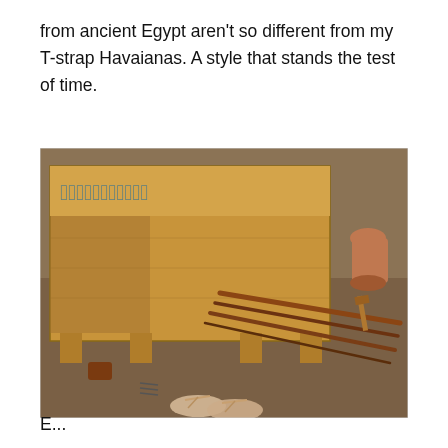from ancient Egypt aren't so different from my T-strap Havaianas. A style that stands the test of time.
[Figure (photo): Museum display showing an ancient Egyptian wooden chest/coffin with hieroglyphics painted in blue on its surface, displayed on a table. In front of the chest are several long wooden sticks or bows, a pair of ancient sandals (thong-style), and other artifacts. A small clay pot is visible in the background on the right.]
E...